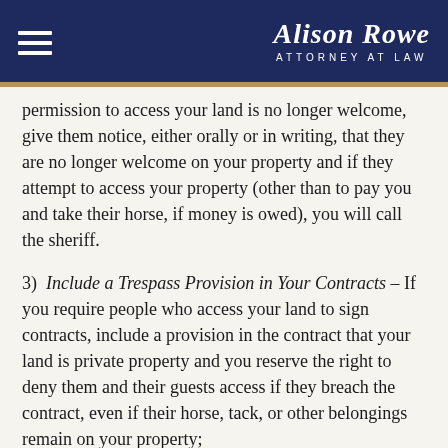Alison Rowe Attorney at Law
permission to access your land is no longer welcome, give them notice, either orally or in writing, that they are no longer welcome on your property and if they attempt to access your property (other than to pay you and take their horse, if money is owed), you will call the sheriff.
3)  Include a Trespass Provision in Your Contracts – If you require people who access your land to sign contracts, include a provision in the contract that your land is private property and you reserve the right to deny them and their guests access if they breach the contract, even if their horse, tack, or other belongings remain on your property;